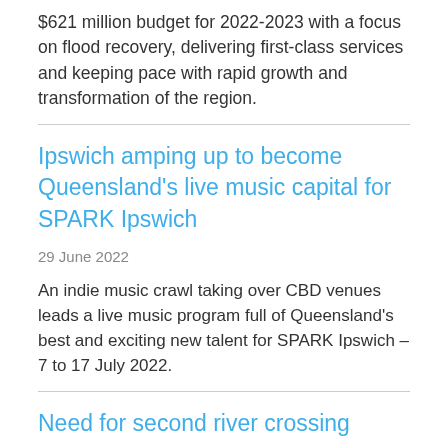$621 million budget for 2022-2023 with a focus on flood recovery, delivering first-class services and keeping pace with rapid growth and transformation of the region.
Ipswich amping up to become Queensland’s live music capital for SPARK Ipswich
29 June 2022
An indie music crawl taking over CBD venues leads a live music program full of Queensland’s best and exciting new talent for SPARK Ipswich – 7 to 17 July 2022.
Need for second river crossing